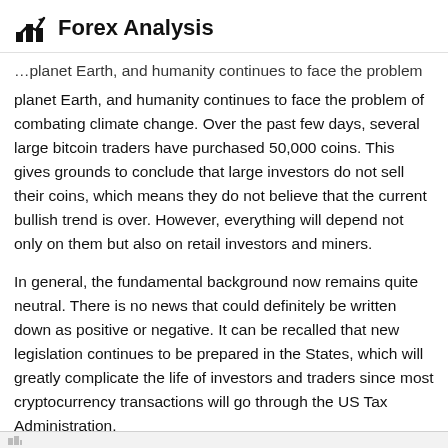Forex Analysis
…planet Earth, and humanity continues to face the problem of combating climate change. Over the past few days, several large bitcoin traders have purchased 50,000 coins. This gives grounds to conclude that large investors do not sell their coins, which means they do not believe that the current bullish trend is over. However, everything will depend not only on them but also on retail investors and miners.
In general, the fundamental background now remains quite neutral. There is no news that could definitely be written down as positive or negative. It can be recalled that new legislation continues to be prepared in the States, which will greatly complicate the life of investors and traders since most cryptocurrency transactions will go through the US Tax Administration.